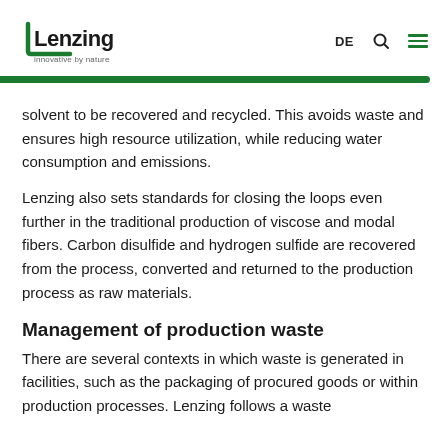Lenzing — innovative by nature | DE
solvent to be recovered and recycled. This avoids waste and ensures high resource utilization, while reducing water consumption and emissions.
Lenzing also sets standards for closing the loops even further in the traditional production of viscose and modal fibers. Carbon disulfide and hydrogen sulfide are recovered from the process, converted and returned to the production process as raw materials.
Management of production waste
There are several contexts in which waste is generated in facilities, such as the packaging of procured goods or within production processes. Lenzing follows a waste